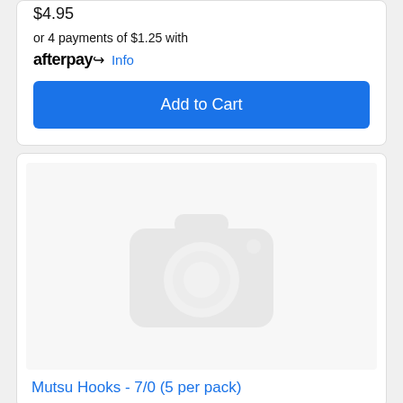$4.95
or 4 payments of $1.25 with afterpay Info
Add to Cart
[Figure (photo): Placeholder product image with a camera icon on light grey background]
Mutsu Hooks - 7/0 (5 per pack)